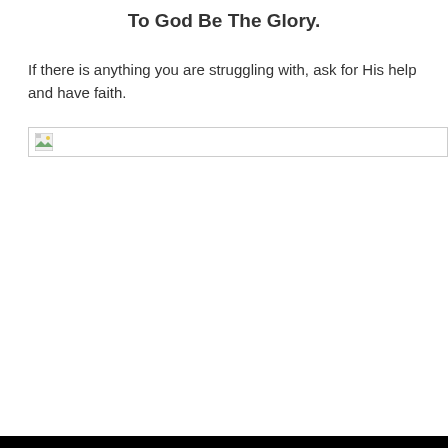To God Be The Glory.
If there is anything you are struggling with, ask for His help and have faith.
[Figure (photo): Broken image placeholder with small thumbnail icon and gray border line extending to the right]
[Figure (photo): Black bar/footer at the bottom of the page]